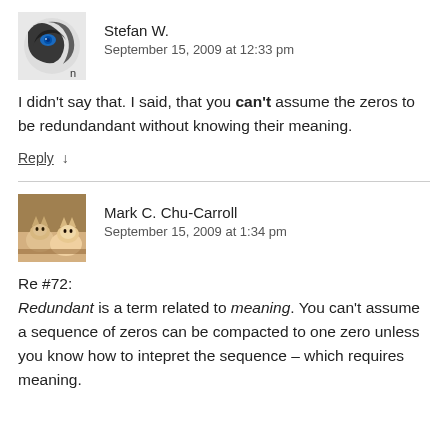[Figure (illustration): Avatar image for Stefan W. — black and white abstract/character illustration with blue eye element]
Stefan W.
September 15, 2009 at 12:33 pm
I didn't say that. I said, that you can't assume the zeros to be redundandant without knowing their meaning.
Reply ↓
[Figure (photo): Avatar photo for Mark C. Chu-Carroll — photo of cats]
Mark C. Chu-Carroll
September 15, 2009 at 1:34 pm
Re #72:
Redundant is a term related to meaning. You can't assume a sequence of zeros can be compacted to one zero unless you know how to intepret the sequence – which requires meaning.